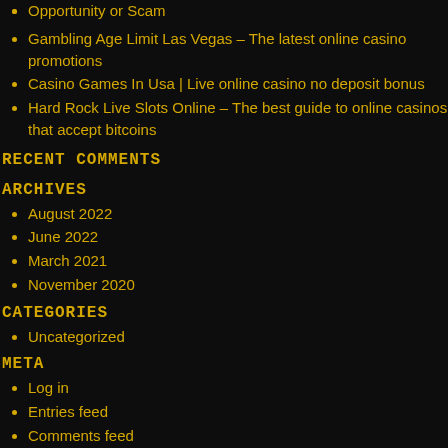Opportunity or Scam
Gambling Age Limit Las Vegas – The latest online casino promotions
Casino Games In Usa | Live online casino no deposit bonus
Hard Rock Live Slots Online – The best guide to online casinos that accept bitcoins
RECENT COMMENTS
ARCHIVES
August 2022
June 2022
March 2021
November 2020
CATEGORIES
Uncategorized
META
Log in
Entries feed
Comments feed
WordPress.org